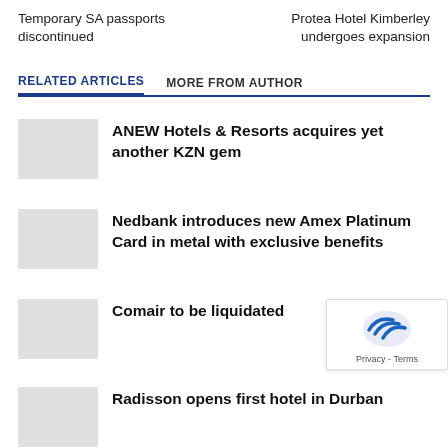Temporary SA passports discontinued
Protea Hotel Kimberley undergoes expansion
RELATED ARTICLES	MORE FROM AUTHOR
ANEW Hotels & Resorts acquires yet another KZN gem
Nedbank introduces new Amex Platinum Card in metal with exclusive benefits
Comair to be liquidated
Radisson opens first hotel in Durban